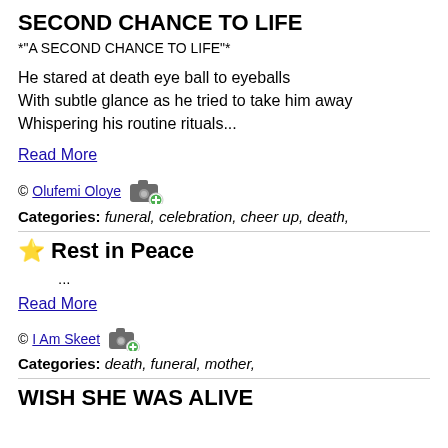SECOND CHANCE TO LIFE
*"A SECOND CHANCE TO LIFE"*
He stared at death eye ball to eyeballs
With subtle glance as he tried to take him away
Whispering his routine rituals...
Read More
© Olufemi Oloye [camera icon]
Categories: funeral, celebration, cheer up, death,
Rest in Peace
...
Read More
© I Am Skeet [camera icon]
Categories: death, funeral, mother,
WISH SHE WAS ALIVE